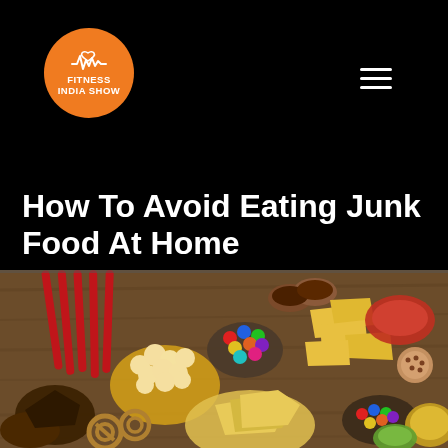FITNESS INDIA SHOW
How To Avoid Eating Junk Food At Home
Health and Diet   October 19, 2021
[Figure (photo): Overhead view of various junk foods on a wooden table including chips, popcorn, candy, pretzels, nachos, cookies, dips, and other snacks arranged in bowls and scattered around.]